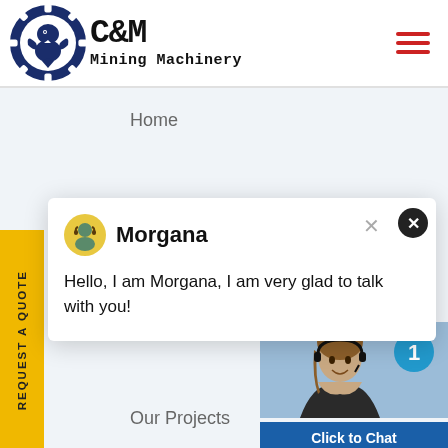[Figure (logo): C&M Mining Machinery logo with gear and eagle icon]
Home
[Figure (screenshot): Chat popup widget featuring Morgana avatar with message: Hello, I am Morgana, I am very glad to talk with you!]
Our Projects
Contact
Solutions
200tph granite crushing line
[Figure (photo): Customer service agent woman with headset, with Click to Chat button and notification badge showing 1]
Click to Chat
Enquiry